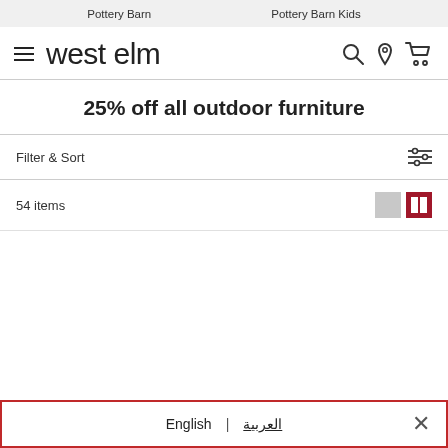Pottery Barn    Pottery Barn Kids
[Figure (logo): west elm logo with hamburger menu icon and search, location, cart icons]
25% off all outdoor furniture
Filter & Sort
54 items
English | العربية